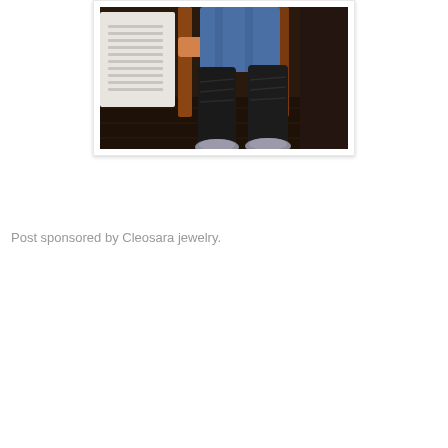[Figure (photo): A cropped photo showing a person seated, wearing blue jeans and tall black boots with silver toe caps. Wooden chair legs and a white radiator/air unit are visible in the background on a dark patterned floor.]
Post sponsored by Cleosara jewelry.